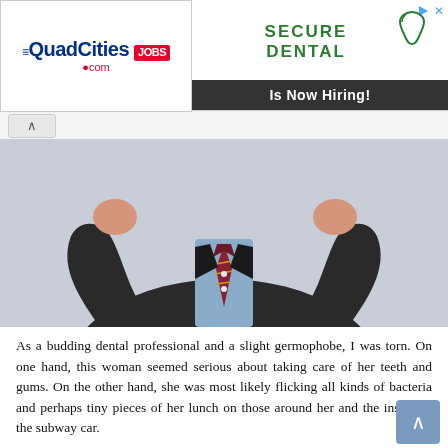[Figure (other): Advertisement banner: QuadCities JOBS .com logo on left; Secure Dental Is Now Hiring! ad on right]
[Figure (photo): Man in suit and tie with fists raised near his face, visible from shoulders up, headless crop]
As a budding dental professional and a slight germophobe, I was torn.  On one hand, this woman seemed serious about taking care of her teeth and gums.  On the other hand, she was most likely flicking all kinds of bacteria and perhaps tiny pieces of her lunch on those around her and the inside of the subway car.
Flossing In Public: Is It OK?
I can appreciate both sides of the debate regarding